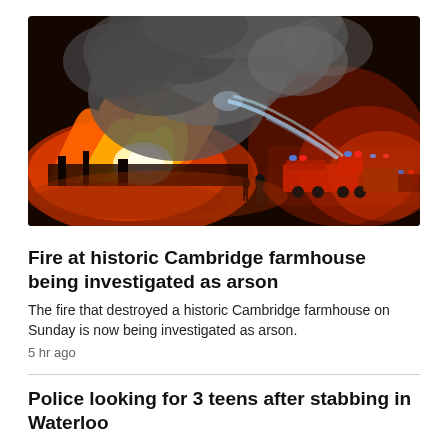[Figure (photo): Nighttime photo of a large building fire with massive flames and smoke on the left, fire trucks spraying water on the right, emergency vehicles with flashing lights visible in the background]
Fire at historic Cambridge farmhouse being investigated as arson
The fire that destroyed a historic Cambridge farmhouse on Sunday is now being investigated as arson.
5 hr ago
Police looking for 3 teens after stabbing in Waterloo